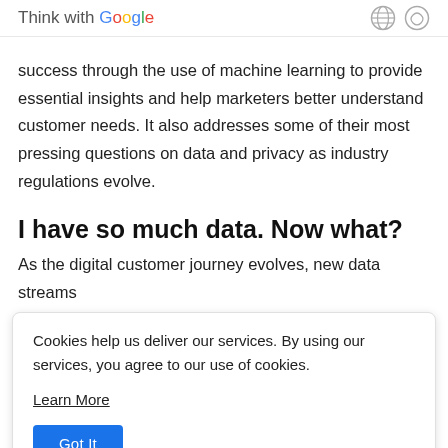Think with Google
success through the use of machine learning to provide essential insights and help marketers better understand customer needs. It also addresses some of their most pressing questions on data and privacy as industry regulations evolve.
I have so much data. Now what?
As the digital customer journey evolves, new data streams
Cookies help us deliver our services. By using our services, you agree to our use of cookies.

Learn More

Got It